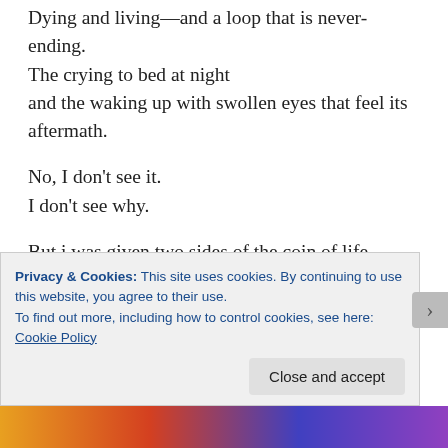Dying and living—and a loop that is never-ending.
The crying to bed at night
and the waking up with swollen eyes that feel its aftermath.
No, I don't see it.
I don't see why.
But i was given two sides of the coin of life.
The duality of which, i have to master in time.
No, i don't see it.
I don't even get it.
But i was given this depth of feels to be felt.
Privacy & Cookies: This site uses cookies. By continuing to use this website, you agree to their use.
To find out more, including how to control cookies, see here: Cookie Policy
Close and accept